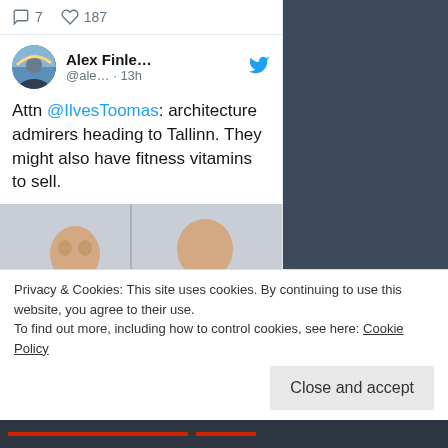[Figure (screenshot): Twitter/social media screenshot showing a tweet by Alex Finle... (@ale...) posted 13h ago. Tweet text: 'Attn @IlvesToomas: architecture admirers heading to Tallinn. They might also have fitness vitamins to sell.' followed by a photo of two men sitting side by side.]
Privacy & Cookies: This site uses cookies. By continuing to use this website, you agree to their use.
To find out more, including how to control cookies, see here: Cookie Policy
Close and accept